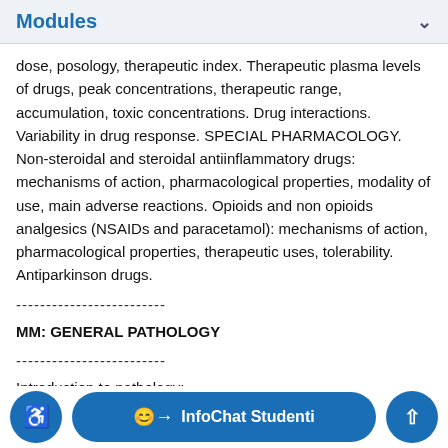Modules
dose, posology, therapeutic index. Therapeutic plasma levels of drugs, peak concentrations, therapeutic range, accumulation, toxic concentrations. Drug interactions. Variability in drug response. SPECIAL PHARMACOLOGY. Non-steroidal and steroidal antiinflammatory drugs: mechanisms of action, pharmacological properties, modality of use, main adverse reactions. Opioids and non opioids analgesics (NSAIDs and paracetamol): mechanisms of action, pharmacological properties, therapeutic uses, tolerability. Antiparkinson drugs.
-------------------------
MM: GENERAL PATHOLOGY
-------------------------
Introduction to pathology:
Cell homeostasis and alterations at the cell and organism
concept of biochemica…